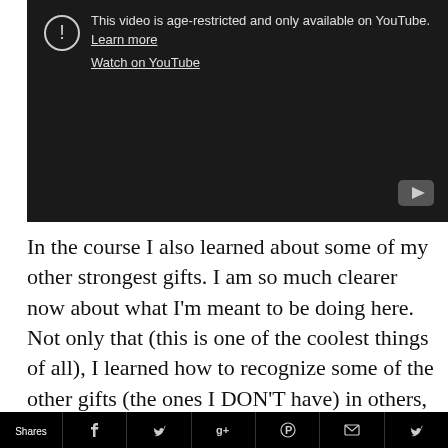[Figure (screenshot): YouTube embedded video player showing age-restricted warning. Dark background with warning icon (circle with exclamation), text 'This video is age-restricted and only available on YouTube. Learn more' and 'Watch on YouTube' link. YouTube logo button in bottom-right corner.]
In the course I also learned about some of my other strongest gifts. I am so much clearer now about what I'm meant to be doing here. Not only that (this is one of the coolest things of all), I learned how to recognize some of the other gifts (the ones I DON'T have) in others, so that I can attract the right people
Shares [Facebook] [Twitter] [Google+] [Pinterest] [Email] [Twitter]